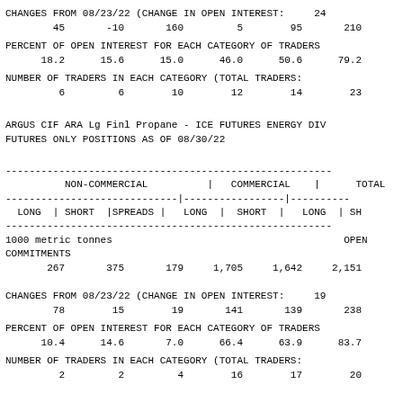CHANGES FROM 08/23/22 (CHANGE IN OPEN INTEREST:     24
        45        -10       160         5        95       210
PERCENT OF OPEN INTEREST FOR EACH CATEGORY OF TRADERS
      18.2      15.6      15.0      46.0      50.6      79.2
NUMBER OF TRADERS IN EACH CATEGORY (TOTAL TRADERS:
         6         6        10        12        14        23
ARGUS CIF ARA Lg Finl Propane - ICE FUTURES ENERGY DIV
FUTURES ONLY POSITIONS AS OF 08/30/22
| NON-COMMERCIAL | COMMERCIAL | TOTAL |
| --- | --- | --- |
| LONG | SHORT |SPREADS | | LONG | SHORT | | LONG | SH |
| 267 | 375 | 179 | 1,705 | 1,642 | 2,151 |
CHANGES FROM 08/23/22 (CHANGE IN OPEN INTEREST:     19
        78        15        19       141       139       238
PERCENT OF OPEN INTEREST FOR EACH CATEGORY OF TRADERS
      10.4      14.6       7.0      66.4      63.9      83.7
NUMBER OF TRADERS IN EACH CATEGORY (TOTAL TRADERS:
         2         2         4        16        17        20